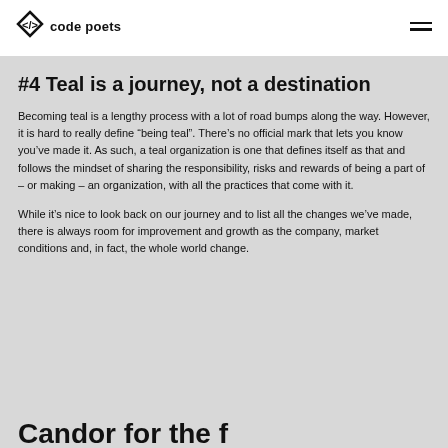accepted by other members in a regular decision-making ...
[Figure (logo): Code Poets logo: a diamond/code bracket icon followed by 'code poets' text]
#4 Teal is a journey, not a destination
Becoming teal is a lengthy process with a lot of road bumps along the way. However, it is hard to really define “being teal”. There’s no official mark that lets you know you’ve made it. As such, a teal organization is one that defines itself as that and follows the mindset of sharing the responsibility, risks and rewards of being a part of – or making – an organization, with all the practices that come with it.
While it’s nice to look back on our journey and to list all the changes we’ve made, there is always room for improvement and growth as the company, market conditions and, in fact, the whole world change.
Candor for the f...